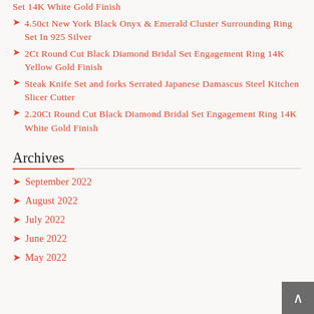Set 14K White Gold Finish
4.50ct New York Black Onyx & Emerald Cluster Surrounding Ring Set In 925 Silver
2Ct Round Cut Black Diamond Bridal Set Engagement Ring 14K Yellow Gold Finish
Steak Knife Set and forks Serrated Japanese Damascus Steel Kitchen Slicer Cutter
2.20Ct Round Cut Black Diamond Bridal Set Engagement Ring 14K White Gold Finish
Archives
September 2022
August 2022
July 2022
June 2022
May 2022